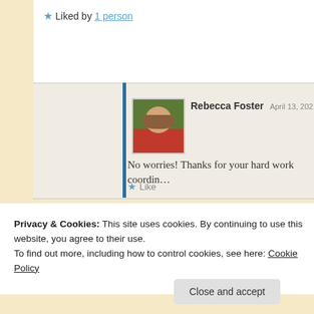★ Liked by 1 person
[Figure (photo): Profile photo of Rebecca Foster, a woman with brown hair wearing a red top, shown in a small square avatar with a green leafy background]
Rebecca Foster  April 13, 2021 at 10:42 AM
No worries! Thanks for your hard work coordin…
★ Like
Privacy & Cookies: This site uses cookies. By continuing to use this website, you agree to their use.
To find out more, including how to control cookies, see here: Cookie Policy
Close and accept